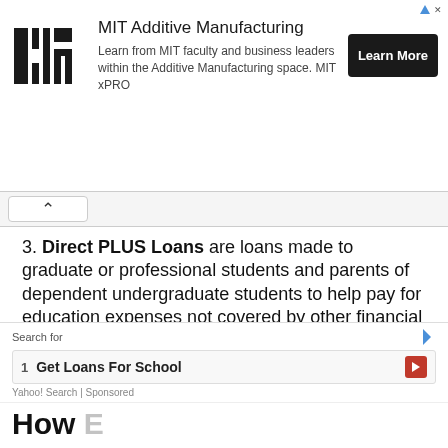[Figure (screenshot): MIT Additive Manufacturing advertisement banner with MIT logo, description text, and Learn More button]
3. Direct PLUS Loans are loans made to graduate or professional students and parents of dependent undergraduate students to help pay for education expenses not covered by other financial aid.
Eligibility is not based on financial need, but a credit check is required. Borrowers who have an adverse credit history must meet additional requirements to qualify.
4. Direct Consolidation Loans allow you to combine all of your eligible federal student loans into a single loan with a single loan servicer.
[Figure (screenshot): Search bar with 'Search for' label and result '1 Get Loans For School' from Yahoo! Search Sponsored]
[Figure (screenshot): Partial 'How' text at bottom of page suggesting more content below]